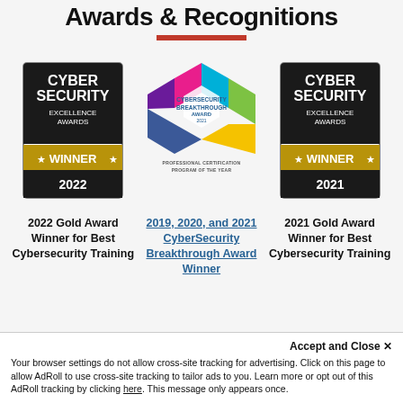Awards & Recognitions
[Figure (logo): Cyber Security Excellence Awards – Gold Winner 2022 badge]
[Figure (logo): CyberSecurity Breakthrough Award 2021 – Professional Certification Program of the Year badge]
[Figure (logo): Cyber Security Excellence Awards – Gold Winner 2021 badge]
2022 Gold Award Winner for Best Cybersecurity Training
2019, 2020, and 2021 CyberSecurity Breakthrough Award Winner
2021 Gold Award Winner for Best Cybersecurity Training
Accept and Close ✕
Your browser settings do not allow cross-site tracking for advertising. Click on this page to allow AdRoll to use cross-site tracking to tailor ads to you. Learn more or opt out of this AdRoll tracking by clicking here. This message only appears once.